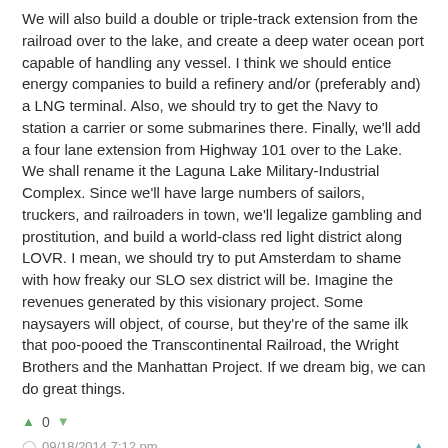We will also build a double or triple-track extension from the railroad over to the lake, and create a deep water ocean port capable of handling any vessel. I think we should entice energy companies to build a refinery and/or (preferably and) a LNG terminal. Also, we should try to get the Navy to station a carrier or some submarines there. Finally, we'll add a four lane extension from Highway 101 over to the Lake. We shall rename it the Laguna Lake Military-Industrial Complex. Since we'll have large numbers of sailors, truckers, and railroaders in town, we'll legalize gambling and prostitution, and build a world-class red light district along LOVR. I mean, we should try to put Amsterdam to shame with how freaky our SLO sex district will be. Imagine the revenues generated by this visionary project. Some naysayers will object, of course, but they're of the same ilk that poo-pooed the Transcontinental Railroad, the Wright Brothers and the Manhattan Project. If we dream big, we can do great things.
0
09/18/2014 7:12 pm
roberttorrance